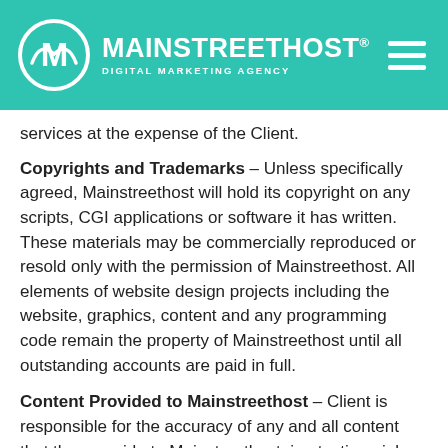MAINSTREETHOST® DIGITAL MARKETING AGENCY
services at the expense of the Client.
Copyrights and Trademarks – Unless specifically agreed, Mainstreethost will hold its copyright on any scripts, CGI applications or software it has written. These materials may be commercially reproduced or resold only with the permission of Mainstreethost. All elements of website design projects including the website, graphics, content and any programming code remain the property of Mainstreethost until all outstanding accounts are paid in full.
Content Provided to Mainstreethost – Client is responsible for the accuracy of any and all content that they provide to Mainstreethost. i.e. testimonials, product data, company info., etc. Any falsified information that causes any legal action will be...